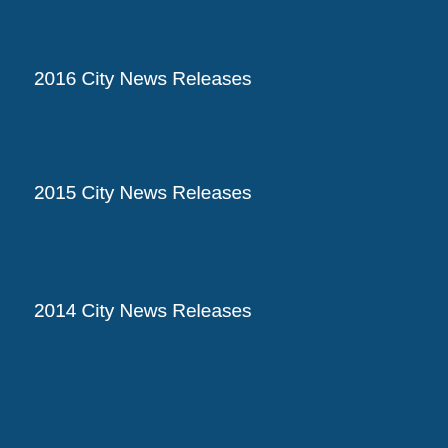2016 City News Releases
2015 City News Releases
2014 City News Releases
Archived News Releases (Prior to May 2014)
Environmental Services News Releases
Health Dept. News Releases
Job Center News Releases
Fire Dept. News Releases